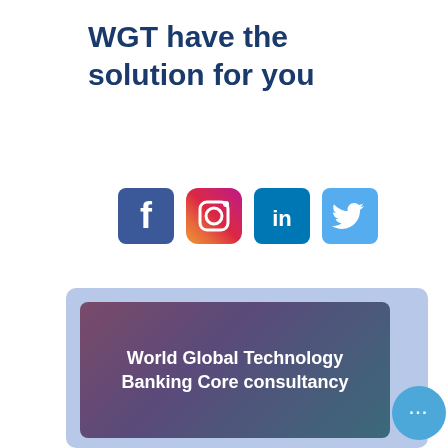WGT have the solution for you
[Figure (infographic): Row of four social media icons: Facebook (dark blue), Instagram (gradient pink/orange), LinkedIn (blue), Twitter (light blue)]
[Figure (infographic): Promotional banner with gradient purple-teal background showing 'World Global Technology Banking Core consultancy' in white bold text, with a light blue circular more button with three dots]